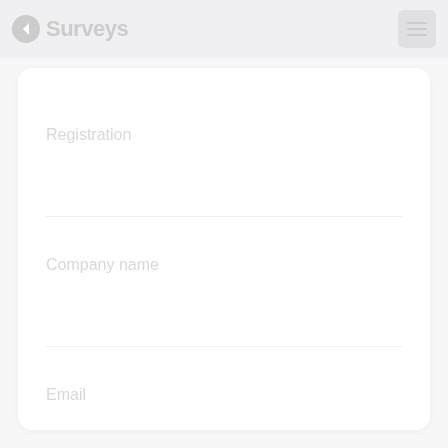[Figure (logo): SurveyS or similar survey platform logo with arrow icon and text in light gray, on a light gray navigation bar with a hamburger menu icon on the right]
Registration
Company name
Email